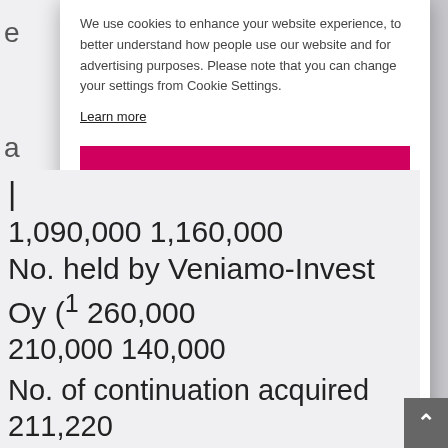We use cookies to enhance your website experience, to better understand how people use our website and for advertising purposes. Please note that you can change your settings from Cookie Settings.
Learn more
ALLOW ALL COOKIES
ALLOW ONLY NECESSARY COOKIES
COOKIE SETTINGS
1,090,000 1,160,000
No. held by Veniamo-Invest Oy (¹ 260,000 210,000 140,000
No. of continuation acquired 211,220